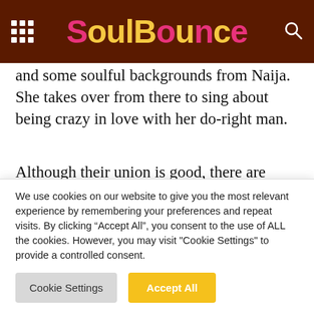SoulBounce
and some soulful backgrounds from Naija. She takes over from there to sing about being crazy in love with her do-right man.
Although their union is good, there are some people who insist on talking bad about them. “And I know that they / Hoping and praying on our downfall,” Queen sings on the pre-chorus. “Won’t be satisfied until we break up / Hate it
We use cookies on our website to give you the most relevant experience by remembering your preferences and repeat visits. By clicking “Accept All”, you consent to the use of ALL the cookies. However, you may visit "Cookie Settings" to provide a controlled consent.